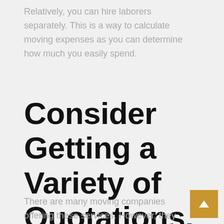Relatively, you can hire laborers separately. This is a way to calculate moving expenses as you can determine how much you easily spend.
Consider Getting a Variety of Quotations.
There are many moving companies offering these services. However, they